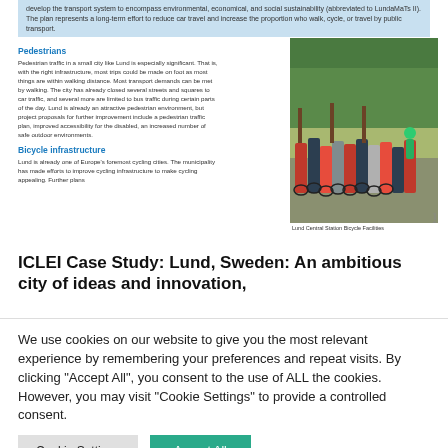develop the transport system to encompass environmental, economical, and social sustainability (abbreviated to LundaMaTs II). The plan represents a long-term effort to reduce car travel and increase the proportion who walk, cycle, or travel by public transport.
Pedestrians
Pedestrian traffic in a small city like Lund is especially significant. That is, with the right infrastructure, most trips could be made on foot as most things are within walking distance. Most transport demands can be met by walking. The city has already closed several streets and squares to car traffic, and several more are limited to bus traffic during certain parts of the day. Lund is already an attractive pedestrian environment, but project proposals for further improvement include a pedestrian traffic plan, improved accessibility for the disabled, an increased number of safe outdoor environments.
[Figure (photo): Photo of bicycles parked at Lund Central Station Bicycle Facilities, with trees in background]
Lund Central Station Bicycle Facilities
Bicycle infrastructure
Lund is already one of Europe's foremost cycling cities. The municipality has made efforts to improve cycling infrastructure to make cycling appealing. Further plans
ICLEI Case Study: Lund, Sweden: An ambitious city of ideas and innovation,
We use cookies on our website to give you the most relevant experience by remembering your preferences and repeat visits. By clicking "Accept All", you consent to the use of ALL the cookies. However, you may visit "Cookie Settings" to provide a controlled consent.